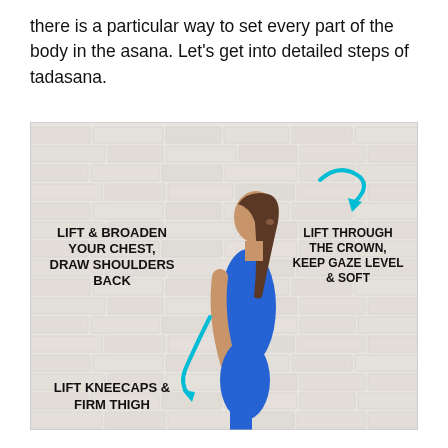there is a particular way to set every part of the body in the asana. Let’s get into detailed steps of tadasana.
[Figure (photo): Annotated photo of a woman in profile view wearing a blue yoga outfit, standing against a white brick wall in tadasana pose. Teal curved arrows and bold text annotations label body parts: 'LIFT & BROADEN YOUR CHEST, DRAW SHOULDERS BACK', 'LIFT THROUGH THE CROWN, KEEP GAZE LEVEL & SOFT', 'LIFT KNEECAPS & FIRM THIGH'.]